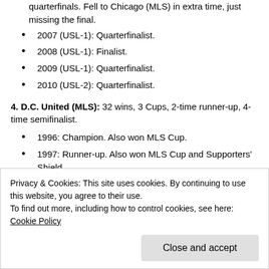quarterfinals. Fell to Chicago (MLS) in extra time, just missing the final.
2007 (USL-1): Quarterfinalist.
2008 (USL-1): Finalist.
2009 (USL-1): Quarterfinalist.
2010 (USL-2): Quarterfinalist.
4. D.C. United (MLS): 32 wins, 3 Cups, 2-time runner-up, 4-time semifinalist.
1996: Champion. Also won MLS Cup.
1997: Runner-up. Also won MLS Cup and Supporters' Shield.
Privacy & Cookies: This site uses cookies. By continuing to use this website, you agree to their use.
To find out more, including how to control cookies, see here: Cookie Policy
2010: Semifinalist.